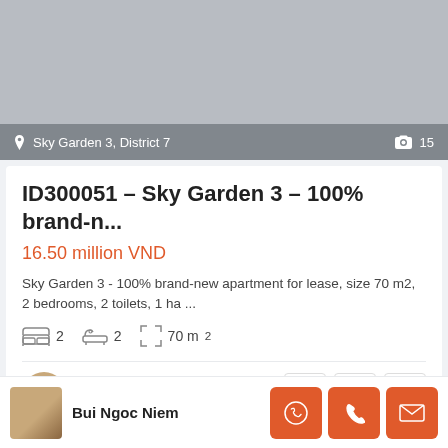[Figure (photo): Property listing photo placeholder - grey background with location bar showing Sky Garden 3, District 7 and photo count 15]
ID300051 – Sky Garden 3 – 100% brand-n...
16.50 million VND
Sky Garden 3 - 100% brand-new apartment for lease, size 70 m2, 2 bedrooms, 2 toilets, 1 ha ...
2 bedrooms, 2 bathrooms, 70 m²
Bui Ngoc Niem
Bui Ngoc Niem
Rentals